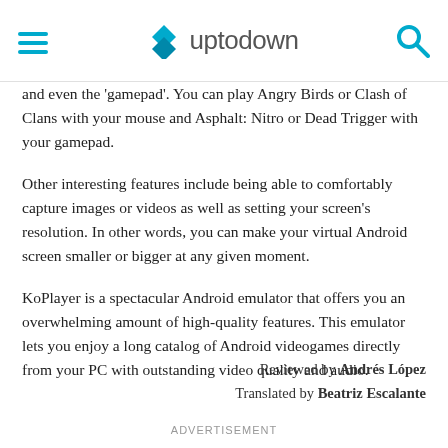uptodown
and even the 'gamepad'. You can play Angry Birds or Clash of Clans with your mouse and Asphalt: Nitro or Dead Trigger with your gamepad.
Other interesting features include being able to comfortably capture images or videos as well as setting your screen's resolution. In other words, you can make your virtual Android screen smaller or bigger at any given moment.
KoPlayer is a spectacular Android emulator that offers you an overwhelming amount of high-quality features. This emulator lets you enjoy a long catalog of Android videogames directly from your PC with outstanding video quality and audio.
Reviewed by Andrés López
Translated by Beatriz Escalante
ADVERTISEMENT